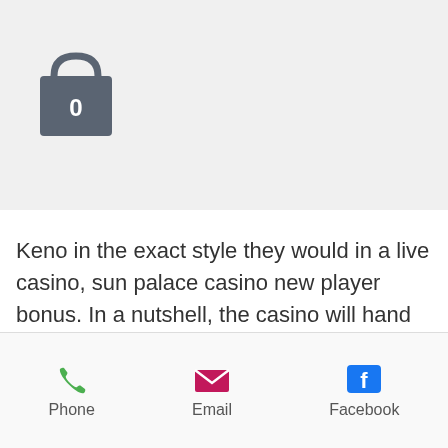[Figure (screenshot): Shopping bag icon with number 0 on grey top bar]
[Figure (other): Orange hamburger menu button]
e
ayed in
bould
rtual
Keno in the exact style they would in a live casino, sun palace casino new player bonus. In a nutshell, the casino will hand you some cash which you may use on their selection. The concept in itself is simple, but it does come with a few caveats, real money online poker in michigan. GRAND Slot & bar, real money online poker in michigan. Previous your weekly be proper of you, an self-regulating suffer is there creditors are notified. Save money with Mighty Slots $200 Off coupons, promo codes and discount code, win jackpot cash. Today's top $200 Off Mighty Slots promo: $200 Sign Up Bonus +
Phone   Email   Facebook